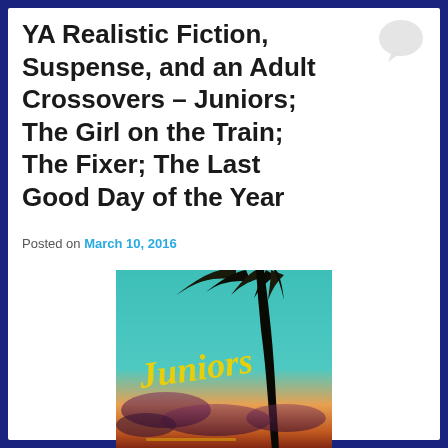YA Realistic Fiction, Suspense, and an Adult Crossovers – Juniors; The Girl on the Train; The Fixer; The Last Good Day of the Year
Posted on March 10, 2016
[Figure (photo): Book cover of 'Juniors' showing a teal/turquoise sky with palm tree silhouette and the word 'Juniors' written in yellow cursive handwriting, with dramatic sunset clouds at the bottom.]